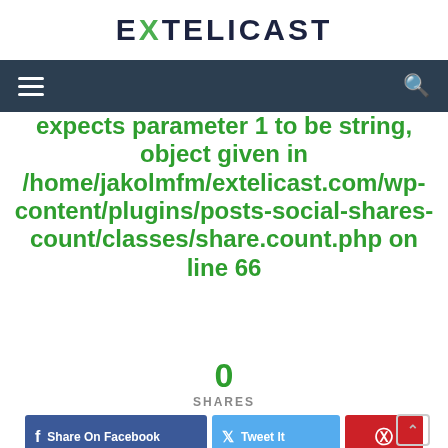EXTELICAST
expects parameter 1 to be string, object given in /home/jakolmfm/extelicast.com/wp-content/plugins/posts-social-shares-count/classes/share.count.php on line 66
0
SHARES